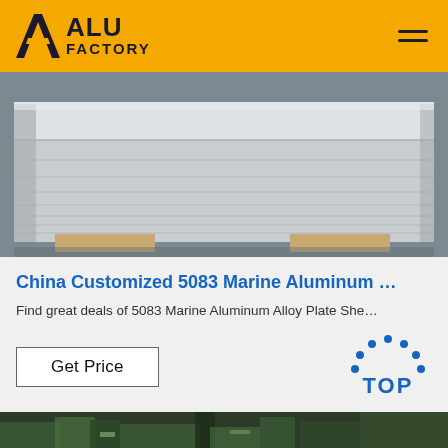ALU FACTORY
[Figure (photo): Stack of 5083 marine aluminum alloy plate sheets on a pallet in a warehouse/factory setting. The sheets are silver/grey colored and stacked flat.]
China Customized 5083 Marine Aluminum …
Find great deals of 5083 Marine Aluminum Alloy Plate She…
[Figure (other): Get Price button and TOP badge logo with blue dotted triangle design]
[Figure (photo): Bottom strip showing a factory/industrial setting with green machinery]